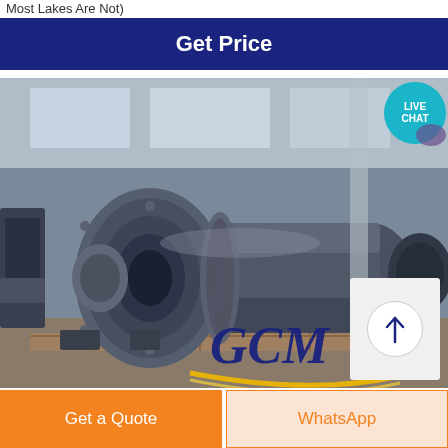Most Lakes Are Not)
Get Price
[Figure (photo): Industrial ball mill machine photographed in a factory/warehouse setting. Large cylindrical grinding mill with flanged drum, showing grey steel construction. GCM company logo visible on image overlay.]
Get a Quote
WhatsApp